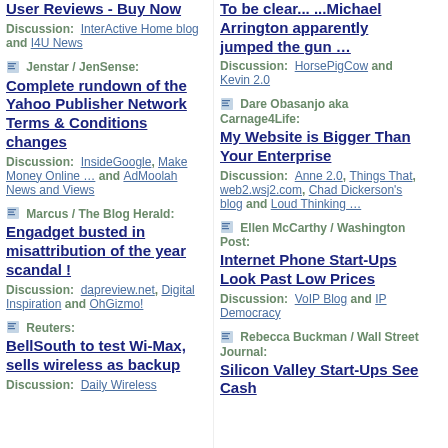User Reviews - Buy Now
Discussion: InterActive Home blog and I4U News
Marcus / The Blog Herald: Engadget busted in misattribution of the year scandal !
Discussion: dapreview.net, Digital Inspiration and OhGizmo!
Jenstar / JenSense: Complete rundown of the Yahoo Publisher Network Terms & Conditions changes
Discussion: InsideGoogle, Make Money Online … and AdMoolah News and Views
Reuters: BellSouth to test Wi-Max, sells wireless as backup
Discussion: Daily Wireless
To be clear... ...Michael Arrington apparently jumped the gun …
Discussion: HorsePigCow and Kevin 2.0
Dare Obasanjo aka Carnage4Life: My Website is Bigger Than Your Enterprise
Discussion: Anne 2.0, Things That, web2.wsj2.com, Chad Dickerson's blog and Loud Thinking …
Ellen McCarthy / Washington Post: Internet Phone Start-Ups Look Past Low Prices
Discussion: VoIP Blog and IP Democracy
Rebecca Buckman / Wall Street Journal: Silicon Valley Start-Ups See Cash